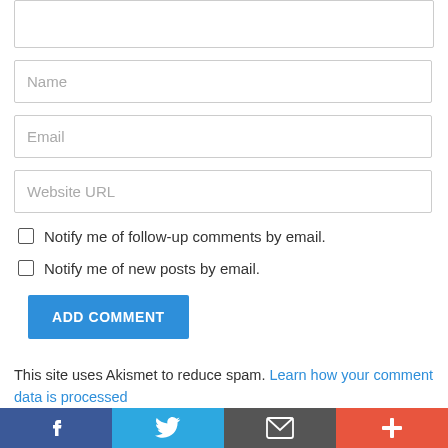[Figure (screenshot): Partial text input area (top of comment form, cropped)]
Name
Email
Website URL
Notify me of follow-up comments by email.
Notify me of new posts by email.
ADD COMMENT
This site uses Akismet to reduce spam. Learn how your comment data is processed
[Figure (screenshot): Social share footer bar with Facebook, Twitter, Email, and Plus icons]